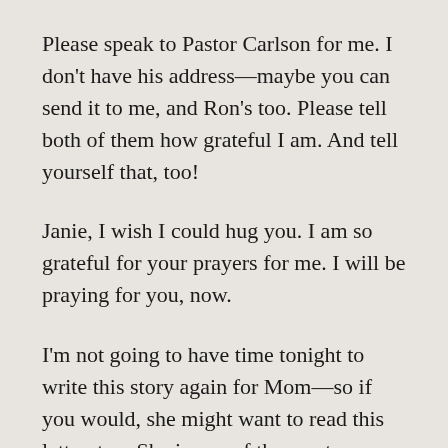Please speak to Pastor Carlson for me. I don't have his address—maybe you can send it to me, and Ron's too. Please tell both of them how grateful I am. And tell yourself that, too!
Janie, I wish I could hug you. I am so grateful for your prayers for me. I will be praying for you, now.
I'm not going to have time tonight to write this story again for Mom—so if you would, she might want to read this letter, too. She is one of the most important people in my life.  Most people's mother's are—but ours is special.